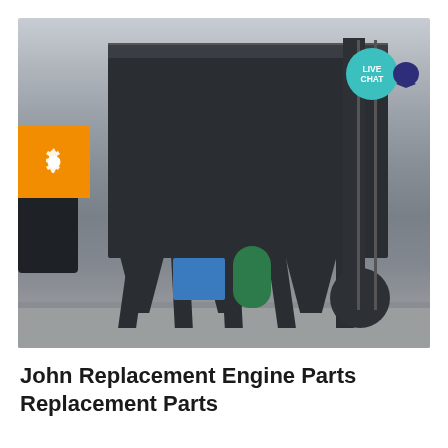[Figure (photo): Industrial dust collector / baghouse unit installed outdoors at an industrial facility. Large dark rectangular structure elevated on angled support legs with hoppers below. Vertical ladder on the right side, large pipe and elbow ductwork. Blue equipment box and green pressure tank visible on the ground. An orange badge with a gear icon overlays the left side. A teal 'LIVE CHAT' speech bubble icon appears in the upper right corner.]
John Replacement Engine Parts Replacement Parts